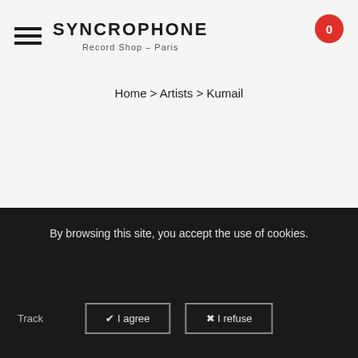SYNCROPHONE Record Shop – Paris
Home > Artists > Kumail
By browsing this site, you accept the use of cookies.
Track
✔ I agree
✖ I refuse